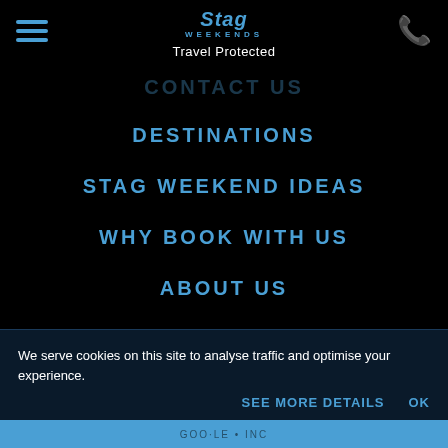Stag Weekends — Travel Protected
CONTACT US
DESTINATIONS
STAG WEEKEND IDEAS
WHY BOOK WITH US
ABOUT US
SITE MAP
ACTIVITY TYPES
REVIEWS
We serve cookies on this site to analyse traffic and optimise your experience.
SEE MORE DETAILS   OK